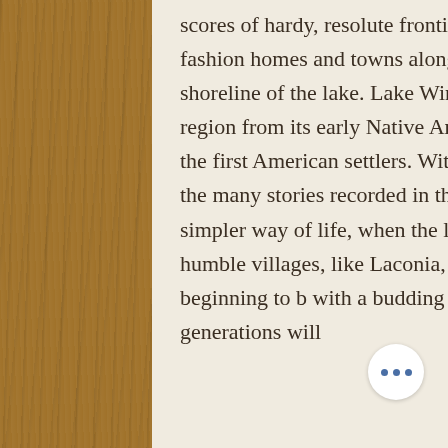scores of hardy, resolute frontier men and women worked tirelessly to fashion homes and towns along the bays, tributaries, islands, and shoreline of the lake. Lake Winnipesaukee documents the history of the region from its early Native American heritage to the lasting legacy of the first American settlers. With over 150 accompanying illustrations, the many stories recorded in this unique volume evoke memories of a simpler way of life, when the lake was evolving from a scattering of humble villages, like Laconia, Meredith, and Wolfeboro, and just beginning to b with a budding tourist industry. Readers of many generations will